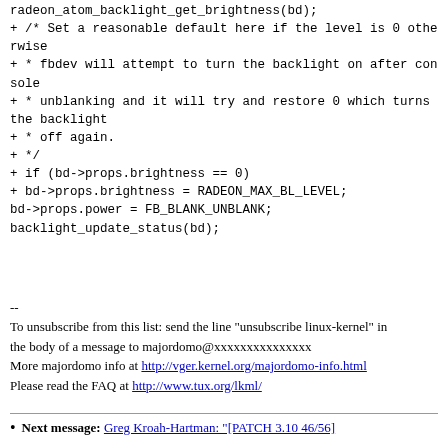radeon_atom_backlight_get_brightness(bd);
+ /* Set a reasonable default here if the level is 0 otherwise
+ * fbdev will attempt to turn the backlight on after console
+ * unblanking and it will try and restore 0 which turns the backlight
+ * off again.
+ */
+ if (bd->props.brightness == 0)
+ bd->props.brightness = RADEON_MAX_BL_LEVEL;
bd->props.power = FB_BLANK_UNBLANK;
backlight_update_status(bd);
--
To unsubscribe from this list: send the line "unsubscribe linux-kernel" in
the body of a message to majordomo@xxxxxxxxxxxxxxx
More majordomo info at http://vger.kernel.org/majordomo-info.html
Please read the FAQ at http://www.tux.org/lkml/
Next message: Greg Kroah-Hartman: "[PATCH 3.10 46/56]